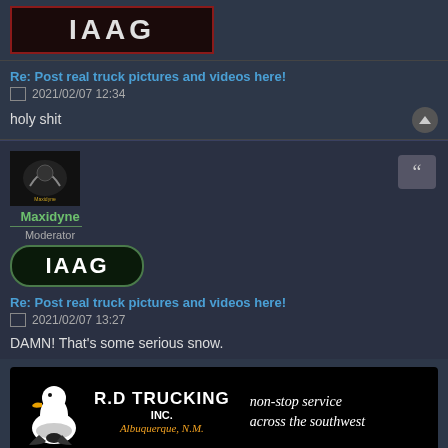[Figure (logo): IAAG badge/logo with dark red border on dark background]
Re: Post real truck pictures and videos here!
2021/02/07 12:34
holy shit
[Figure (logo): Maxidyne user avatar - small dark image with shoe/boot logo]
Maxidyne
Moderator
[Figure (logo): IAAG badge with green border on dark background]
Re: Post real truck pictures and videos here!
2021/02/07 13:27
DAMN! That's some serious snow.
[Figure (logo): R.D Trucking Inc. advertisement banner - black background with duck logo, company name, Albuquerque N.M., non-stop service across the southwest]